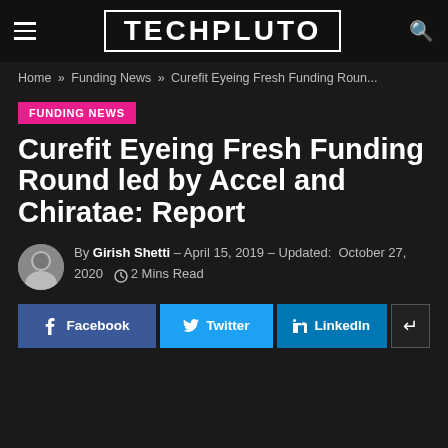TECHPLUTO
Home » Funding News » Curefit Eyeing Fresh Funding Roun...
FUNDING NEWS
Curefit Eyeing Fresh Funding Round led by Accel and Chiratae: Report
By Girish Shetti – April 15, 2019 – Updated: October 27, 2020  2 Mins Read
Facebook  Twitter  LinkedIn